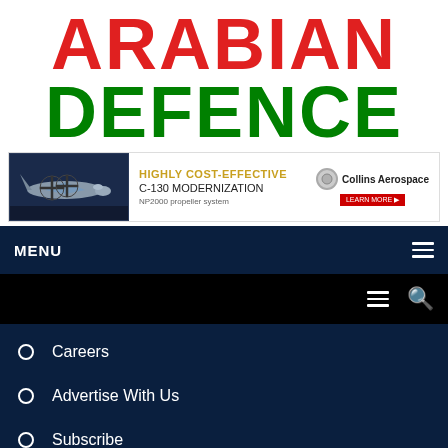ARABIAN DEFENCE
[Figure (infographic): Banner advertisement: Collins Aerospace - Highly Cost-Effective C-130 Modernization, NP2000 propeller system, with image of military aircraft]
MENU
Careers
Advertise With Us
Subscribe
Contact Us
Contact Us